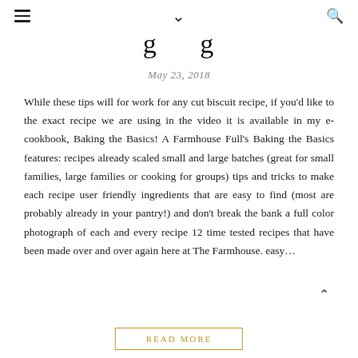☰ ∨ 🔍
g g
May 23, 2018
While these tips will for work for any cut biscuit recipe, if you'd like to the exact recipe we are using in the video it is available in my e-cookbook, Baking the Basics! A Farmhouse Full's Baking the Basics features: recipes already scaled small and large batches (great for small families, large families or cooking for groups) tips and tricks to make each recipe user friendly ingredients that are easy to find (most are probably already in your pantry!) and don't break the bank a full color photograph of each and every recipe 12 time tested recipes that have been made over and over again here at The Farmhouse. easy...
READ MORE